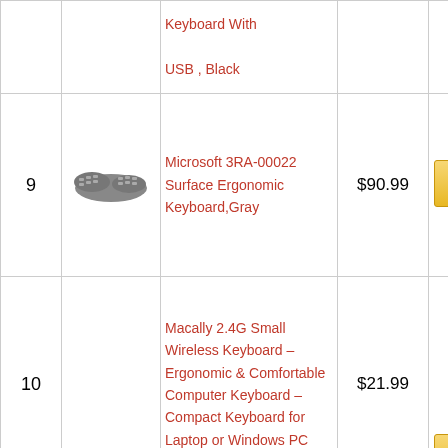| # | Image | Product Name | Price | Action |
| --- | --- | --- | --- | --- |
|  |  | Keyboard With USB , Black |  |  |
| 9 | [keyboard image] | Microsoft 3RA-00022 Surface Ergonomic Keyboard,Gray | $90.99 | Buy on Amazon |
| 10 | [keyboard image] | Macally 2.4G Small Wireless Keyboard – Ergonomic & Comfortable Computer Keyboard – Compact Keyboard for Laptop or Windows PC | $21.99 | Buy on Amazon |